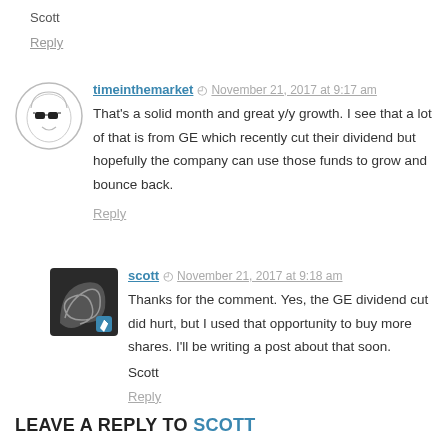Scott
Reply
timeinthemarket · November 21, 2017 at 9:17 am
That's a solid month and great y/y growth. I see that a lot of that is from GE which recently cut their dividend but hopefully the company can use those funds to grow and bounce back.
Reply
scott · November 21, 2017 at 9:18 am
Thanks for the comment. Yes, the GE dividend cut did hurt, but I used that opportunity to buy more shares. I'll be writing a post about that soon.

Scott
Reply
LEAVE A REPLY TO SCOTT